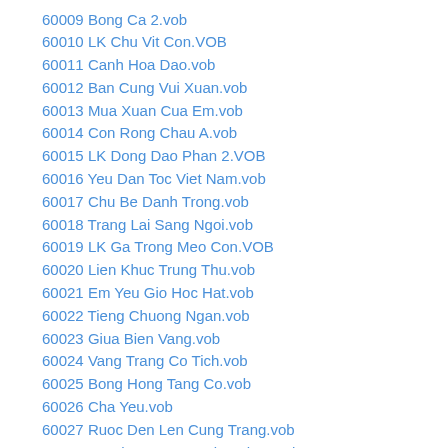60009 Bong Ca 2.vob
60010 LK Chu Vit Con.VOB
60011 Canh Hoa Dao.vob
60012 Ban Cung Vui Xuan.vob
60013 Mua Xuan Cua Em.vob
60014 Con Rong Chau A.vob
60015 LK Dong Dao Phan 2.VOB
60016 Yeu Dan Toc Viet Nam.vob
60017 Chu Be Danh Trong.vob
60018 Trang Lai Sang Ngoi.vob
60019 LK Ga Trong Meo Con.VOB
60020 Lien Khuc Trung Thu.vob
60021 Em Yeu Gio Hoc Hat.vob
60022 Tieng Chuong Ngan.vob
60023 Giua Bien Vang.vob
60024 Vang Trang Co Tich.vob
60025 Bong Hong Tang Co.vob
60026 Cha Yeu.vob
60027 Ruoc Den Len Cung Trang.vob
60028 Ke Chuyen Dem Giao Thua.vob
60029 Giac Mo Vuon Co Tich.vob
60030 Long Me.vob
60031 Cha Toi.vob